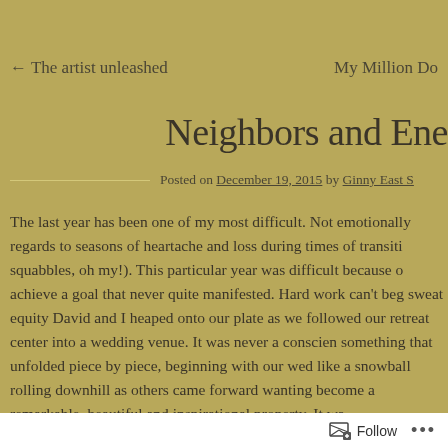← The artist unleashed    My Million Do
Neighbors and Ene
Posted on December 19, 2015 by Ginny East S
The last year has been one of my most difficult. Not emotionally regards to seasons of heartache and loss during times of transiti squabbles, oh my!). This particular year was difficult because o achieve a goal that never quite manifested. Hard work can't beg sweat equity David and I heaped onto our plate as we followed our retreat center into a wedding venue. It was never a conscien something that unfolded piece by piece, beginning with our wed like a snowball rolling downhill as others came forward wanting become a remarkable, beautiful and inspirational property. It wa
Follow ...